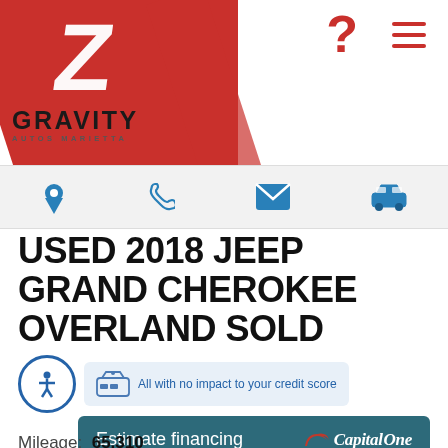[Figure (logo): Gravity Autos Marietta dealership logo with red diagonal Z graphic and hamburger menu icon]
[Figure (infographic): Navigation bar with location pin, phone, email envelope, and car icons in blue on light gray background]
USED 2018 JEEP GRAND CHEROKEE OVERLAND SOLD
All with no impact to your credit score
Estimate financing  Capital One
Mileage: 65,310